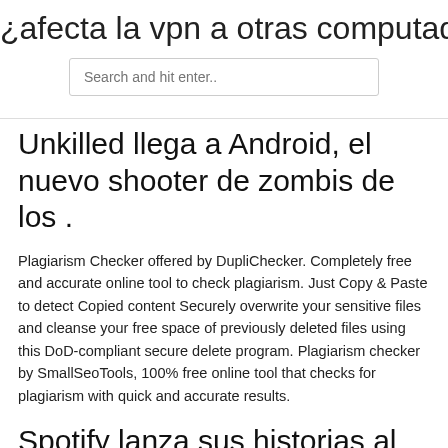¿afecta la vpn a otras computadoras
Search and hit enter..
Unkilled llega a Android, el nuevo shooter de zombis de los .
Plagiarism Checker offered by DupliChecker. Completely free and accurate online tool to check plagiarism. Just Copy & Paste to detect Copied content Securely overwrite your sensitive files and cleanse your free space of previously deleted files using this DoD-compliant secure delete program. Plagiarism checker by SmallSeoTools, 100% free online tool that checks for plagiarism with quick and accurate results.
Spotify lanza sus historias al más puro estilo Instagram Beta .
Recomendamos este glosario de términos de e-learning de